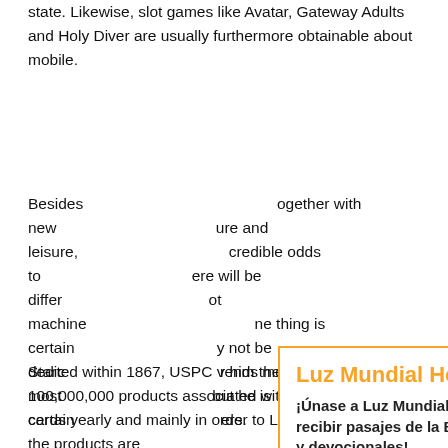state. Likewise, slot games like Avatar, Gateway Adults and Holy Diver are usually furthermore obtainable about mobile.
Besides together with new ure and leisure, d credible odds to ere will be differ ot machine ne thing is certain y not be dedic r him the mos but he is certain ers.
[Figure (screenshot): Modal popup for Luz Mundial Hoy newsletter signup. Contains title 'Luz Mundial Hoy', subtitle '¡Únase a Luz Mundial Hoy para recibir pasajes de la Biblia, videos y devocionales!', email input field with placeholder 'Escribir su correo electrón', an 'Enter' button, fine print about newsletters, and links to Política de Privacidad / Términos de Uso. Has an X close button in top right corner.]
Started within 1867, USPC vends more than 100,000,000 products associated with enjoying credit cards yearly and mainly in order to Las Las vegas where the products are